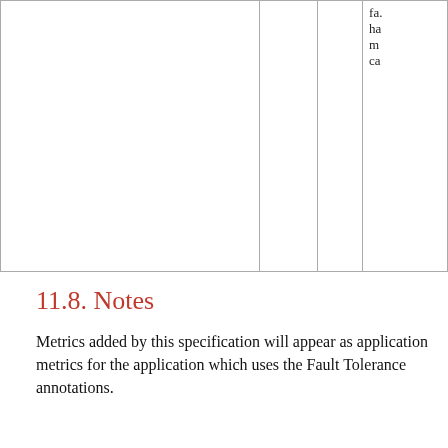|  |  |  | fa...
ha...
m...
ca... |
11.8. Notes
Metrics added by this specification will appear as application metrics for the application which uses the Fault Tolerance annotations.
Future versions of this specification may change the definitions of the metrics which are added to take advantage of enhancements in the MicroProfile Metrics specification.
If more than one annotation is applied to a method, the metrics associated with each annotation will be